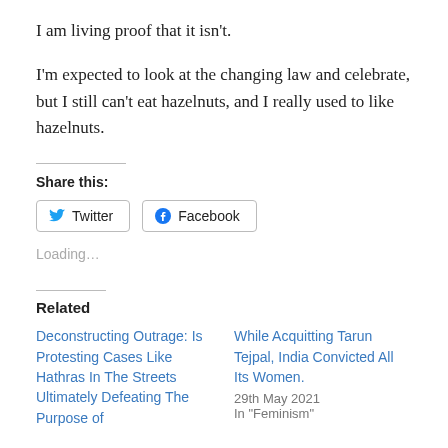I am living proof that it isn't.
I'm expected to look at the changing law and celebrate, but I still can't eat hazelnuts, and I really used to like hazelnuts.
Share this:
[Figure (other): Social share buttons: Twitter and Facebook]
Loading…
Related
Deconstructing Outrage: Is Protesting Cases Like Hathras In The Streets Ultimately Defeating The Purpose of
While Acquitting Tarun Tejpal, India Convicted All Its Women.
29th May 2021
In "Feminism"